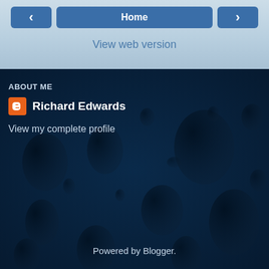Home
View web version
ABOUT ME
Richard Edwards
View my complete profile
Powered by Blogger.